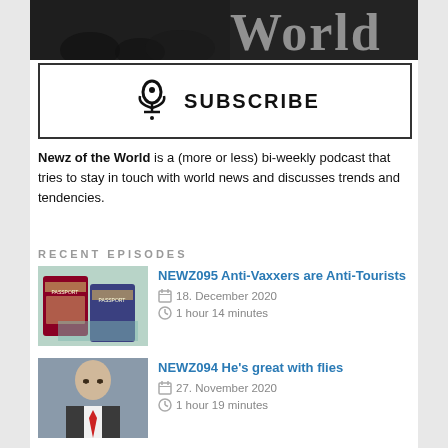[Figure (photo): Dark background image with partial text 'World' visible in large white letters]
[Figure (infographic): Subscribe button with podcast microphone icon and text SUBSCRIBE]
Newz of the World is a (more or less) bi-weekly podcast that tries to stay in touch with world news and discusses trends and tendencies.
RECENT EPISODES
[Figure (photo): Thumbnail image of passports and travel documents]
NEWZ095 Anti-Vaxxers are Anti-Tourists
18. December 2020
1 hour 14 minutes
[Figure (photo): Thumbnail image of a man in a suit with a red tie]
NEWZ094 He's great with flies
27. November 2020
1 hour 19 minutes
[Figure (photo): Thumbnail image of a building exterior]
NEWZ093 Lawn and Order
10. November 2020
1 hour 13 minutes